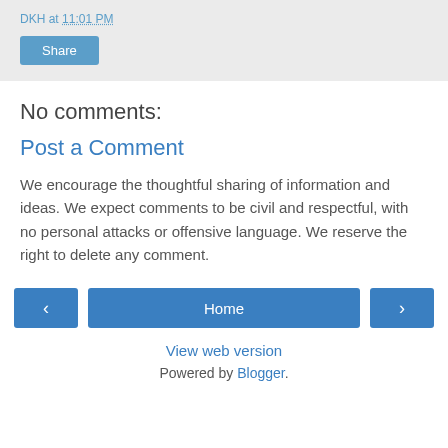DKH at 11:01 PM
Share
No comments:
Post a Comment
We encourage the thoughtful sharing of information and ideas. We expect comments to be civil and respectful, with no personal attacks or offensive language. We reserve the right to delete any comment.
< Home >
View web version
Powered by Blogger.